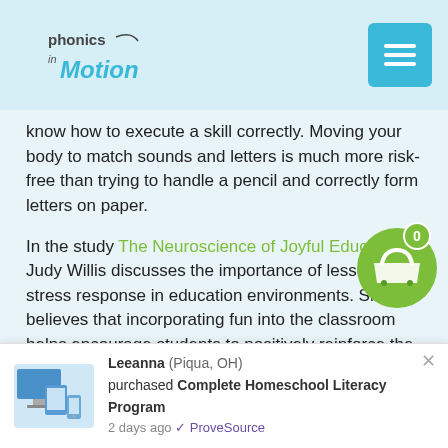Phonics in Motion [logo] [menu button]
[Figure (other): Green shopping cart badge with basket icon and count 0]
know how to execute a skill correctly. Moving your body to match sounds and letters is much more risk-free than trying to handle a pencil and correctly form letters on paper.
In the study The Neuroscience of Joyful Education, Judy Willis discusses the importance of lessening a stress response in education environments. She believes that incorporating fun into the classroom helps encourage students to positively reinforce the concepts, and opens doors to revisiting the activity in a positive way.
Phonics in Motion shares this same belief and ensures that the instructional methods used are engaging and
Leeanna (Piqua, OH) purchased Complete Homeschool Literacy Program 2 days ago ✓ ProveSource